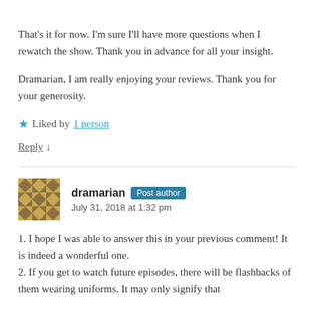That’s it for now. I’m sure I’ll have more questions when I rewatch the show. Thank you in advance for all your insight.
Dramarian, I am really enjoying your reviews. Thank you for your generosity.
★ Liked by 1 person
Reply ↓
dramarian  Post author
July 31, 2018 at 1:32 pm
1. I hope I was able to answer this in your previous comment! It is indeed a wonderful one.
2. If you get to watch future episodes, there will be flashbacks of them wearing uniforms. It may only signify that